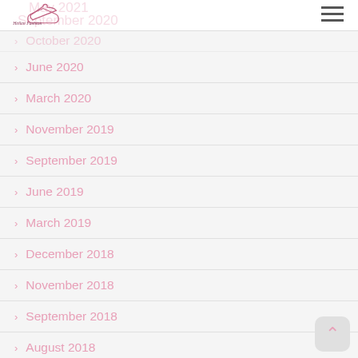Hellen Fashion
May 2021
September 2020
October 2020
June 2020
March 2020
November 2019
September 2019
June 2019
March 2019
December 2018
November 2018
September 2018
August 2018
June 2018
March 2018
December 2017
October 2017